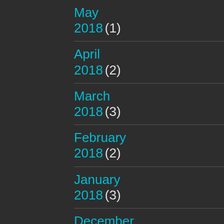May 2018 (1)
April 2018 (2)
March 2018 (3)
February 2018 (2)
January 2018 (3)
December 2017 (4)
November 2017 (2)